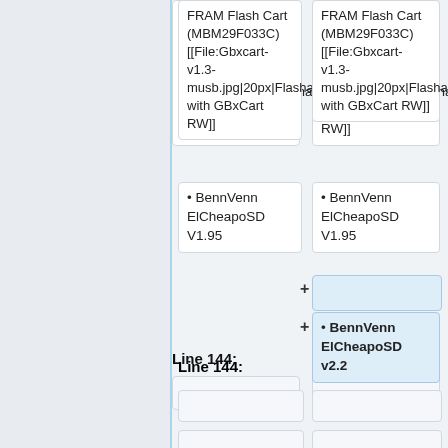FRAM Flash Cart (MBM29F033C) [[File:Gbxcart-v1.3-musb.jpg|20px|Flashable with GBxCart RW]]
FRAM Flash Cart (MBM29F033C) [[File:Gbxcart-v1.3-musb.jpg|20px|Flashable with GBxCart RW]]
Line 144:
Line 132:
• BennVenn ElCheapoSD V1.95
• BennVenn ElCheapoSD V1.95
+ (empty added box)
+ • BennVenn ElCheapoSD v2.2